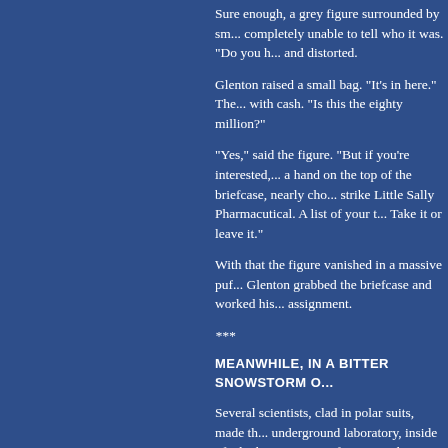Sure enough, a grey figure surrounded by sm... completely unable to tell who it was. "Do you h... and distorted.
Glenton raised a small bag. "It's in here." The... with cash. "Is this the eighty million?"
"Yes," said the figure. "But if you're interested,... a hand on the top of the briefcase, nearly cho... strike Little Sally Pharmacutical. A list of your t... Take it or leave it."
With that the figure vanished in a massive puf... Glenton grabbed the briefcase and worked his... assignment.
***
MEANWHILE, IN A BITTER SNOWSTORM O...
Several scientists, clad in polar suits, made th... underground laboratory, inside of which sat se... mainframe. "Is the project ready?" asked one...
"Not yet," said another. "But soon."
***
MEANWHILE, AT THE RPGC TASK FORCE H...
Finally, it was reduced to drawing straws. On...